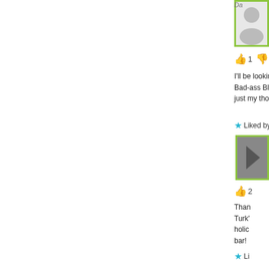[Figure (photo): User avatar placeholder with gray silhouette icon, green border]
👍 1 👎 0 ●
I'll be lookin… Bad-ass Bly… just my tho…
★ Liked by 1
[Figure (photo): User avatar with dark chevron/arrow icon, green border]
👍 2
Than… Turk'… holic… bar!
★ Li…